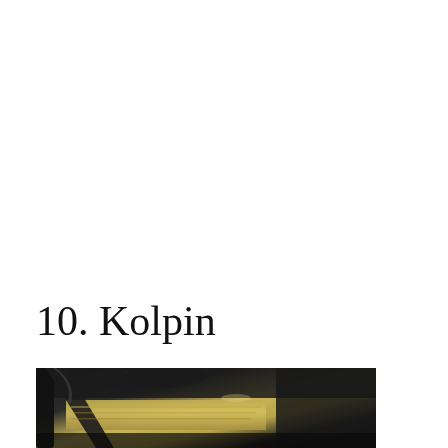10. Kolpin
[Figure (photo): Close-up photo of dark automotive or vehicle parts, possibly roll cage bars or structural tubing, with a gold/tan colored panel visible beneath, photographed from below looking up]